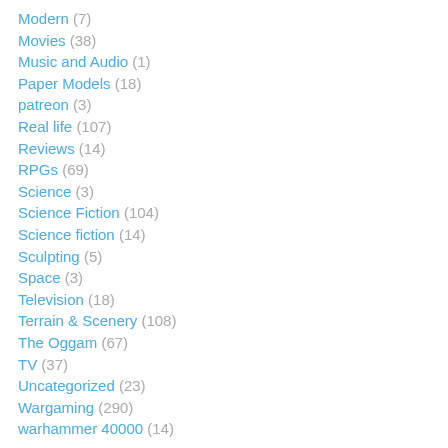Modern (7)
Movies (38)
Music and Audio (1)
Paper Models (18)
patreon (3)
Real life (107)
Reviews (14)
RPGs (69)
Science (3)
Science Fiction (104)
Science fiction (14)
Sculpting (5)
Space (3)
Television (18)
Terrain & Scenery (108)
The Oggam (67)
TV (37)
Uncategorized (23)
Wargaming (290)
warhammer 40000 (14)